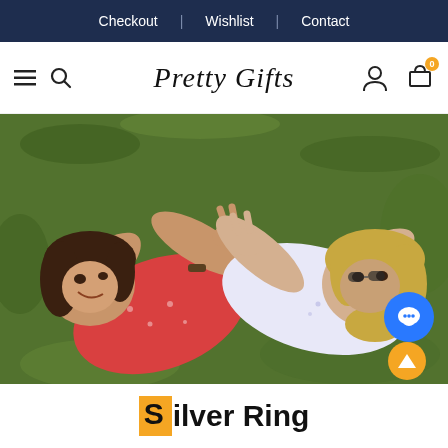Checkout | Wishlist | Contact
Pretty Gifts
[Figure (photo): Two young women lying on grass in summer dresses, smiling and making peace signs with their hands, viewed from above.]
Silver Ring